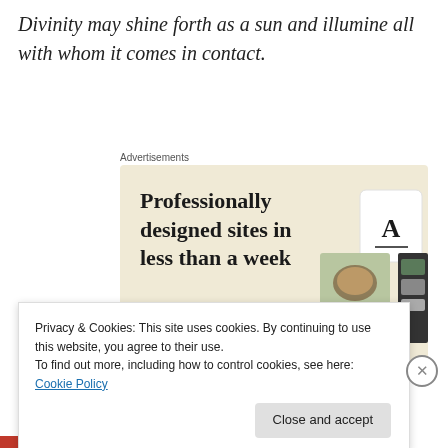Divinity may shine forth as a sun and illumine all with whom it comes in contact.
[Figure (screenshot): Advertisement banner for a website builder service. Beige background with bold text reading 'Professionally designed sites in less than a week', a green 'Explore options' button, and mockup images of websites on the right side. Labeled 'Advertisements' above.]
Privacy & Cookies: This site uses cookies. By continuing to use this website, you agree to their use.
To find out more, including how to control cookies, see here: Cookie Policy
Close and accept